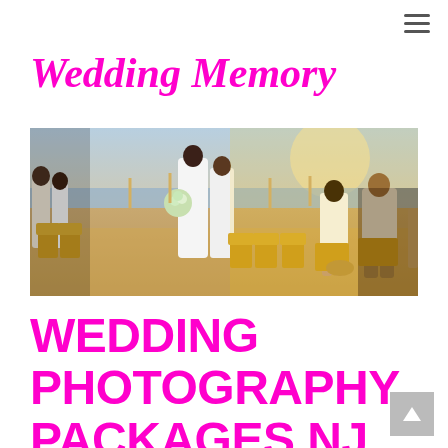≡
Wedding Memory
[Figure (photo): Wedding ceremony on a beach with a bride in a white dress holding a bouquet, guests seated on golden chairs, warm sunlit atmosphere]
WEDDING PHOTOGRAPHY PACKAGES NJ